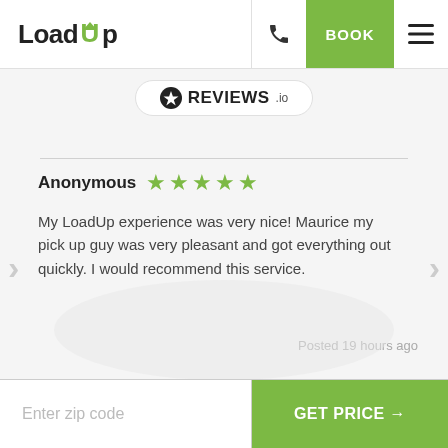LoadUp | BOOK
[Figure (logo): REVIEWS.io badge with star icon]
Anonymous ★★★★★
My LoadUp experience was very nice! Maurice my pick up guy was very pleasant and got everything out quickly. I would recommend this service.
Posted 19 hours ago
Enter zip code
GET PRICE →